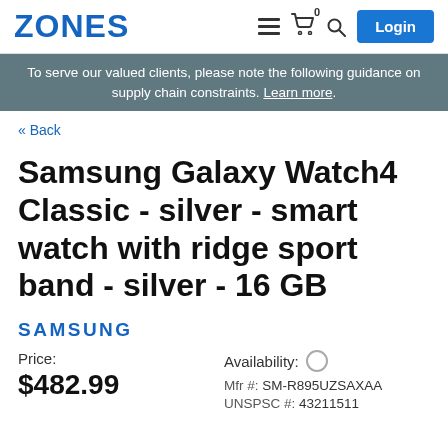ZONES
To serve our valued clients, please note the following guidance on supply chain constraints. Learn more.
« Back
Samsung Galaxy Watch4 Classic - silver - smart watch with ridge sport band - silver - 16 GB
SAMSUNG
Price:
$482.99
Availability:
Mfr #:  SM-R895UZSAXAA
UNSPSC #:  43211511